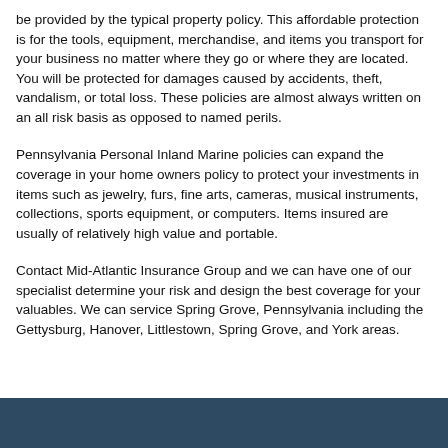be provided by the typical property policy. This affordable protection is for the tools, equipment, merchandise, and items you transport for your business no matter where they go or where they are located. You will be protected for damages caused by accidents, theft, vandalism, or total loss. These policies are almost always written on an all risk basis as opposed to named perils.
Pennsylvania Personal Inland Marine policies can expand the coverage in your home owners policy to protect your investments in items such as jewelry, furs, fine arts, cameras, musical instruments, collections, sports equipment, or computers. Items insured are usually of relatively high value and portable.
Contact Mid-Atlantic Insurance Group and we can have one of our specialist determine your risk and design the best coverage for your valuables. We can service Spring Grove, Pennsylvania including the Gettysburg, Hanover, Littlestown, Spring Grove, and York areas.